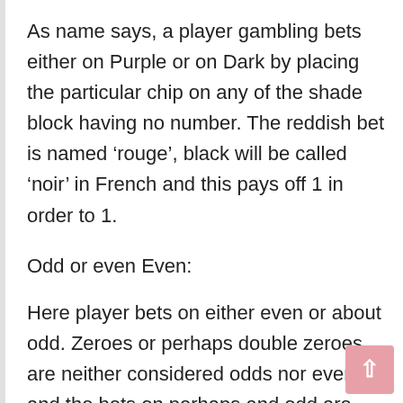As name says, a player gambling bets either on Purple or on Dark by placing the particular chip on any of the shade block having no number. The reddish bet is named ‘rouge’, black will be called ‘noir’ in French and this pays off 1 in order to 1.
Odd or even Even:
Here player bets on either even or about odd. Zeroes or perhaps double zeroes are neither considered odds nor even and the bets on perhaps and odd are ‘pair’ and ‘impair’ respectively.
High or even Low: